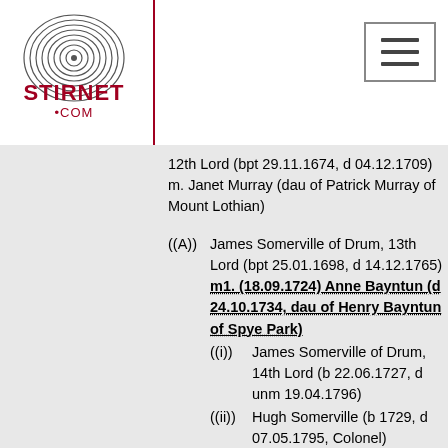[Figure (logo): Stirnet.com logo with fingerprint graphic and red text]
12th Lord (bpt 29.11.1674, d 04.12.1709)
m. Janet Murray (dau of Patrick Murray of Mount Lothian)
((A)) James Somerville of Drum, 13th Lord (bpt 25.01.1698, d 14.12.1765)
m1. (18.09.1724) Anne Bayntun (d 24.10.1734, dau of Henry Bayntun of Spye Park)
((i)) James Somerville of Drum, 14th Lord (b 22.06.1727, d unm 19.04.1796)
((ii)) Hugh Somerville (b 1729, d 07.05.1795, Colonel)
m1. (23.11.1763) Elizabeth Cannon